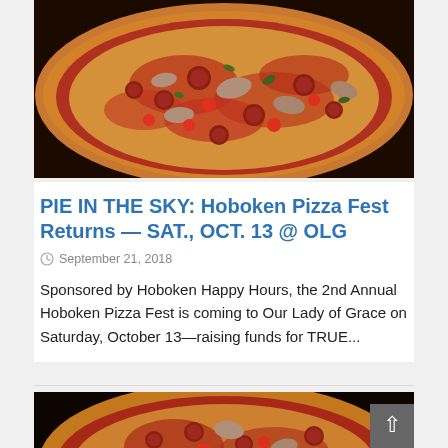[Figure (photo): Close-up photo of a pizza with tomato sauce, pepperoni, mushrooms, and toppings on a dark background]
PIE IN THE SKY: Hoboken Pizza Fest Returns — SAT., OCT. 13 @ OLG
September 21, 2018
Sponsored by Hoboken Happy Hours, the 2nd Annual Hoboken Pizza Fest is coming to Our Lady of Grace on Saturday, October 13—raising funds for TRUE...
[Figure (photo): Partial close-up of a second pizza with similar toppings, partially visible at bottom of page]